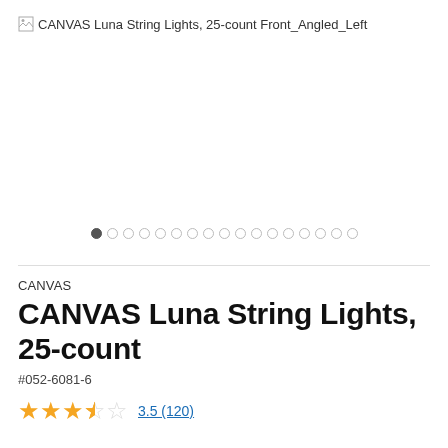[Figure (photo): Broken image placeholder for CANVAS Luna String Lights, 25-count Front_Angled_Left with carousel navigation dots]
CANVAS
CANVAS Luna String Lights, 25-count
#052-6081-6
3.5 (120)